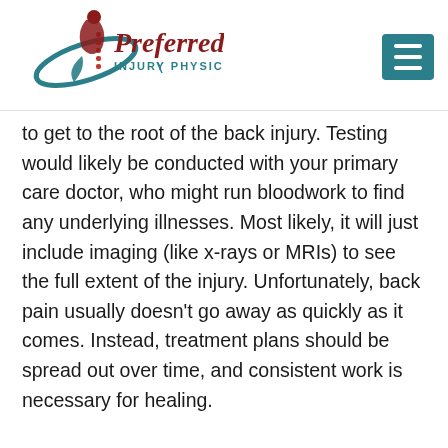[Figure (logo): Preferred Injury Physicians logo with stylized figure and teal swoosh graphic]
to get to the root of the back injury. Testing would likely be conducted with your primary care doctor, who might run bloodwork to find any underlying illnesses. Most likely, it will just include imaging (like x-rays or MRIs) to see the full extent of the injury. Unfortunately, back pain usually doesn't go away as quickly as it comes. Instead, treatment plans should be spread out over time, and consistent work is necessary for healing.